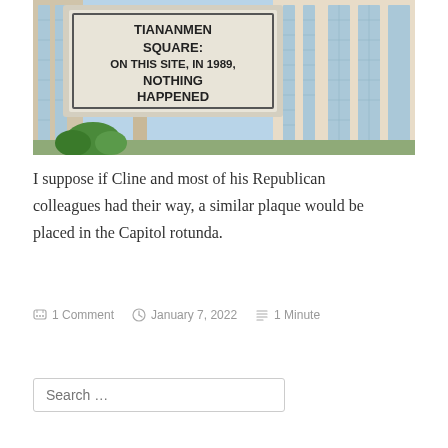[Figure (illustration): Cartoon illustration (Futurama-style) of a plaque/sign in front of a building that reads: 'TIANANMEN SQUARE: ON THIS SITE, IN 1989, NOTHING HAPPENED'. The building has large windows and there are bushes in the foreground.]
I suppose if Cline and most of his Republican colleagues had their way, a similar plaque would be placed in the Capitol rotunda.
1 Comment   January 7, 2022   1 Minute
Search …